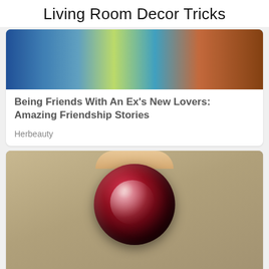Living Room Decor Tricks
[Figure (photo): Photo of people at a social gathering, showing women in colorful outfits]
Being Friends With An Ex's New Lovers: Amazing Friendship Stories
Herbeauty
[Figure (photo): Close-up photo of a dark red gemstone being held by fingers against a gray background]
Top 9 Rarest And Most Valuable Items In The World
Brainberries
✕ CLOSE